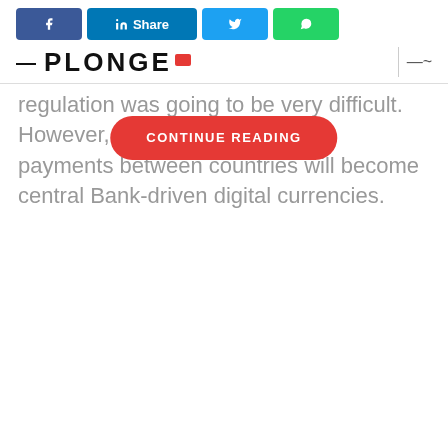[Figure (screenshot): Social share buttons row: Facebook (blue), LinkedIn Share (blue), Twitter (light blue), WhatsApp (green)]
PLONGE (logo with red icon)
regulation was going to be very difficult. However, she said, cross border payments between countries will become ... central Bank-driven digital currencies.
[Figure (other): CONTINUE READING button overlay in red/coral color with white uppercase text]